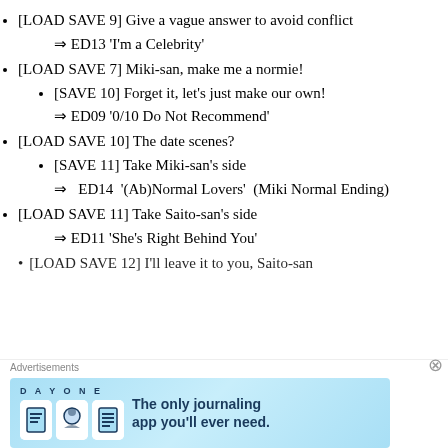[LOAD SAVE 9] Give a vague answer to avoid conflict
⇒ ED13 ‘I’m a Celebrity’
[LOAD SAVE 7] Miki-san, make me a normie!
[SAVE 10] Forget it, let’s just make our own!
⇒ ED09 ‘0/10 Do Not Recommend’
[LOAD SAVE 10] The date scenes?
[SAVE 11] Take Miki-san’s side
⇒ ED14 ‘(Ab)Normal Lovers’ (Miki Normal Ending)
[LOAD SAVE 11] Take Saito-san’s side
⇒ ED11 ‘She’s Right Behind You’
[LOAD SAVE 12] I’ll leave it to you, Saito-san
[Figure (screenshot): Advertisement banner for Day One journaling app with light blue background, app icons, and tagline 'The only journaling app you'll ever need.']